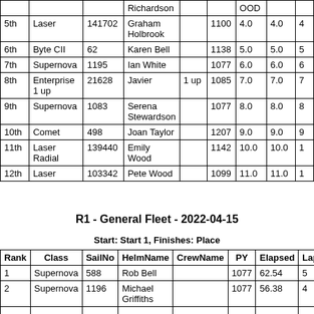| Rank | Class | SailNo | HelmName | CrewName | PY | OOD |  |  |
| --- | --- | --- | --- | --- | --- | --- | --- | --- |
|  |  |  | Richardson |  |  | OOD |  |  |
| 5th | Laser | 141702 | Graham Holbrook |  | 1100 | 4.0 | 4.0 | 4 |
| 6th | Byte CII | 62 | Karen Bell |  | 1138 | 5.0 | 5.0 | 5 |
| 7th | Supernova | 1195 | Ian White |  | 1077 | 6.0 | 6.0 | 6 |
| 8th | Enterprise 1 up | 21628 | Javier | 1 up | 1085 | 7.0 | 7.0 | 7 |
| 9th | Supernova | 1083 | Serena Stewardson |  | 1077 | 8.0 | 8.0 | 8 |
| 10th | Comet | 498 | Joan Taylor |  | 1207 | 9.0 | 9.0 | 9 |
| 11th | Laser Radial | 139440 | Emily Wood |  | 1142 | 10.0 | 10.0 | 1 |
| 12th | Laser | 103342 | Pete Wood |  | 1099 | 11.0 | 11.0 | 1 |
R1 - General Fleet - 2022-04-15
Start: Start 1, Finishes: Place
| Rank | Class | SailNo | HelmName | CrewName | PY | Elapsed | Laps |
| --- | --- | --- | --- | --- | --- | --- | --- |
| 1 | Supernova | 588 | Rob Bell |  | 1077 | 62.54 | 5 |
| 2 | Supernova | 1196 | Michael Griffiths |  | 1077 | 56.38 | 4 |